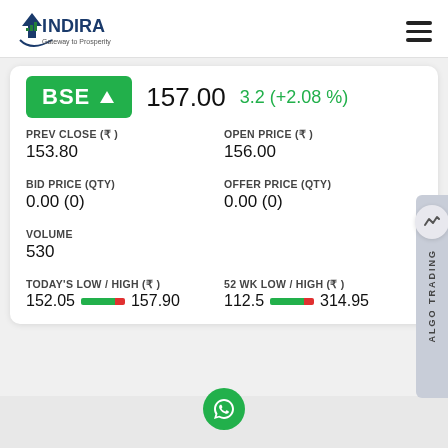INDIRA Gateway to Prosperity
BSE ↑  157.00  3.2 (+2.08 %)
PREV CLOSE (₹)
153.80
OPEN PRICE (₹)
156.00
BID PRICE (QTY)
0.00 (0)
OFFER PRICE (QTY)
0.00 (0)
VOLUME
530
TODAY'S LOW / HIGH (₹)
152.05  157.90
52 WK LOW / HIGH (₹)
112.5  314.95